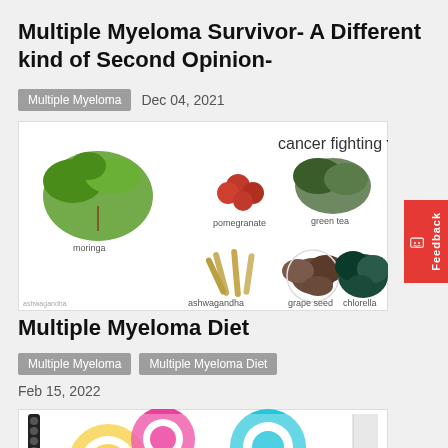Multiple Myeloma Survivor- A Different kind of Second Opinion-
Multiple Myeloma   Dec 04, 2021
[Figure (photo): Cancer fighting foods infographic showing moringa, pomegranate, green tea, ashwagandha, grape seed, and chlorella]
Multiple Myeloma Diet
Multiple Myeloma   Multiple Myeloma Diet
Feb 15, 2022
[Figure (photo): Colorful notebook cover with circular designs in yellow, pink, teal and black dots]